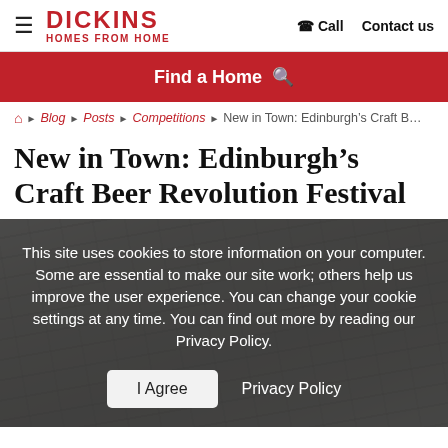DICKINS HOMES FROM HOME | Call | Contact us
Find a Home
🏠 ▶ Blog ▶ Posts ▶ Competitions ▶ New in Town: Edinburgh's Craft B...
New in Town: Edinburgh's Craft Beer Revolution Festival
[Figure (photo): Stone or rock wall texture photo, partially visible behind a dark semi-transparent cookie consent overlay]
This site uses cookies to store information on your computer. Some are essential to make our site work; others help us improve the user experience. You can change your cookie settings at any time. You can find out more by reading our Privacy Policy.
I Agree   Privacy Policy